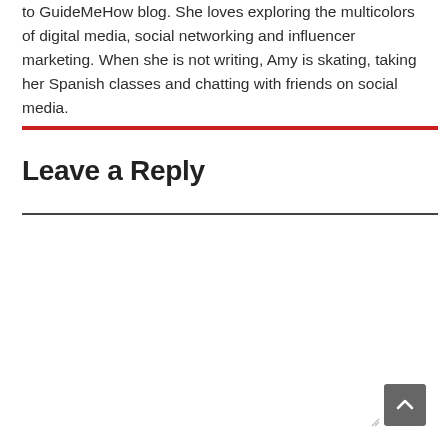to GuideMeHow blog. She loves exploring the multicolors of digital media, social networking and influencer marketing. When she is not writing, Amy is skating, taking her Spanish classes and chatting with friends on social media.
Leave a Reply
[Figure (screenshot): Comment text input box (textarea) with placeholder text 'Comment Text*' and a scroll-to-top button in the bottom right corner]